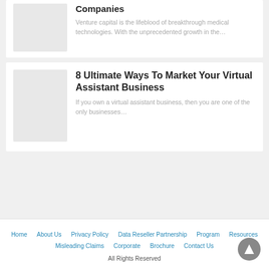Companies
Venture capital is the lifeblood of breakthrough medical technologies. With the unprecedented growth in the…
8 Ultimate Ways To Market Your Virtual Assistant Business
If you own a virtual assistant business, then you are one of the only businesses…
Home   About Us   Privacy Policy   Data Reseller Partnership Program   Resources   Misleading Claims   Corporate Brochure   Contact Us
All Rights Reserved